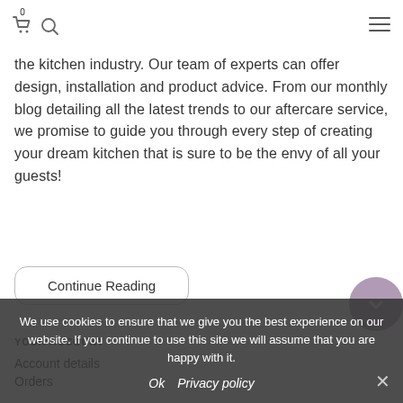0 [cart icon] [search icon] [hamburger menu]
the kitchen industry. Our team of experts can offer design, installation and product advice. From our monthly blog detailing all the latest trends to our aftercare service, we promise to guide you through every step of creating your dream kitchen that is sure to be the envy of all your guests!
Continue Reading
YOUR ACCOUNT
Account details
Orders
We use cookies to ensure that we give you the best experience on our website. If you continue to use this site we will assume that you are happy with it.
Ok  Privacy policy